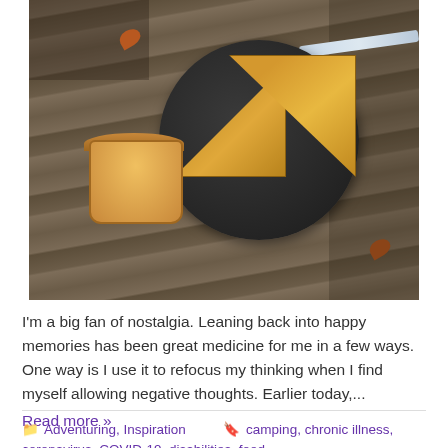[Figure (photo): Overhead photo of a grilled cheese sandwich cut in half on a dark paper plate, alongside a small cup of soup/dip, on a weathered wooden picnic table. A plastic utensil rests on the plate. Autumn leaves visible nearby.]
I'm a big fan of nostalgia. Leaning back into happy memories has been great medicine for me in a few ways. One way is I use it to refocus my thinking when I find myself allowing negative thoughts. Earlier today,...
Read more »
Adventuring, Inspiration   camping, chronic illness, coronavirus, COVID-19, disabilities, food,